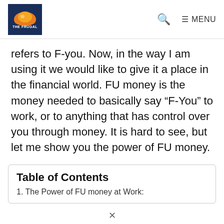THE FRUGAL [logo] | Search | MENU
refers to F-you. Now, in the way I am using it we would like to give it a place in the financial world. FU money is the money needed to basically say “F-You” to work, or to anything that has control over you through money. It is hard to see, but let me show you the power of FU money.
Table of Contents
1. The Power of FU money at Work: